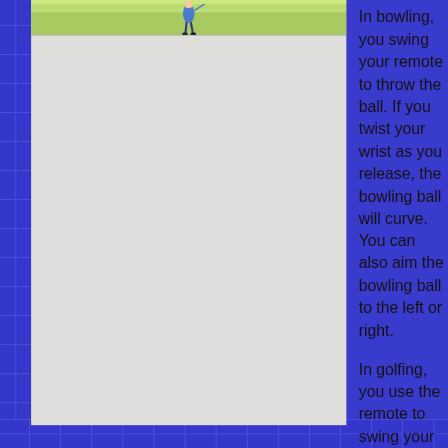[Figure (screenshot): Screenshot of a Wii Sports game showing a character playing on a green field/bowling lane, with a figure in blue outfit visible at the top of the image panel.]
In bowling, you swing your remote to throw the ball. If you twist your wrist as you release, the bowling ball will curve. You can also aim the bowling ball to the left or right.
In golfing, you use the remote to swing your club. You need to think about wind, the slope of the green, and hit the ball straight to make it go far.
In baseball, you can throw different buttons while pitching to throw pitches such as a curve ball or fast ball. Swing at the right moment to hit the ball.
Wii Sports does an incredible job...